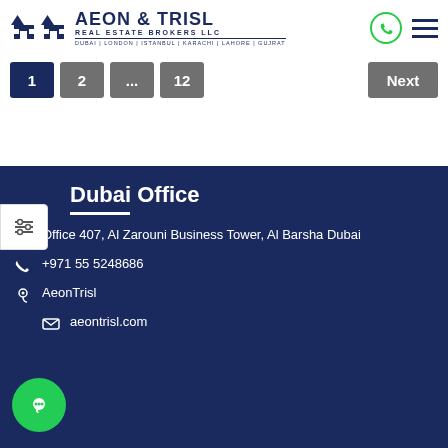[Figure (logo): Aeon & Trisl Real Estate Brokers LLC logo with two house icons and city names: Dubai, London, Istanbul, Karachi, Lahore, Gujrat]
1  2  ...  12  Next (pagination)
Dubai Office
Office 407, Al Zarouni Business Tower, Al Barsha Dubai
+971 55 5248686
AeonTrisl
aeontrisl.com